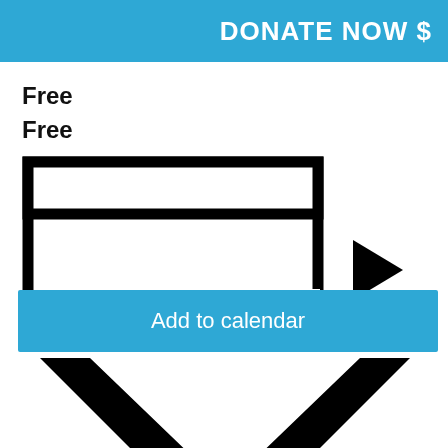DONATE NOW $
Free
Free
[Figure (illustration): Calendar icon with a right-pointing triangle/arrow to its right]
[Figure (illustration): Blue button labeled 'Add to calendar']
[Figure (illustration): Large black chevron/checkmark pointing downward]